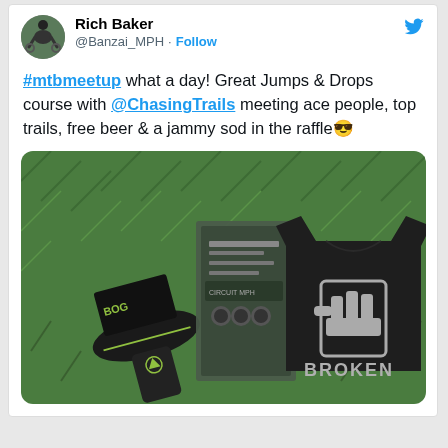[Figure (screenshot): Twitter/X profile header with avatar photo of a mountain biker, display name Rich Baker, handle @Banzai_MPH, Follow button, and Twitter bird icon]
#mtbmeetup what a day! Great Jumps & Drops course with @ChasingTrails meeting ace people, top trails, free beer & a jammy sod in the raffle 😎
[Figure (photo): Photo on grass of mountain bike saddle (BOG brand) with packaging box and a black Broken brand t-shirt with logo]